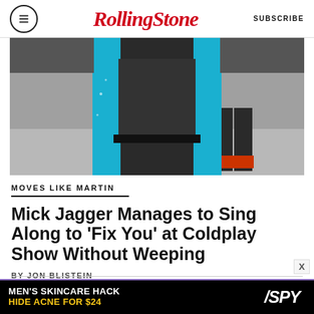RollingStone | SUBSCRIBE
[Figure (photo): Person wearing dark outfit with teal/blue jacket, cropped at torso, standing on a street or stage background]
MOVES LIKE MARTIN
Mick Jagger Manages to Sing Along to ‘Fix You’ at Coldplay Show Without Weeping
BY JON BLISTEIN
[Figure (screenshot): Advertisement: MEN'S SKINCARE HACK HIDE ACNE FOR $24 / SPY logo]